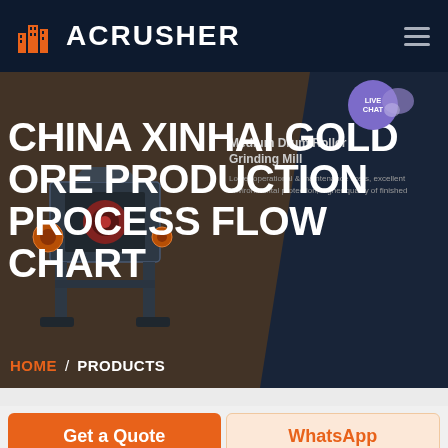ACRUSHER
CHINA XINHAI GOLD ORE PRODUCTION PROCESS FLOW CHART
[Figure (screenshot): Website screenshot of ACRUSHER company page showing a crusher machine on a dark/brown hero banner background with a product card for Medium Drum Roller Grinding Mill on the right side]
Medium Drum Roller Grinding Mill
Lower operational & maintenance costs, excellent environmental protection, higher quality of finished
HOME / PRODUCTS
Get a Quote
WhatsApp